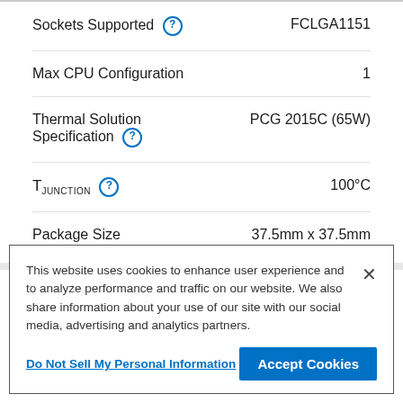Sockets Supported: FCLGA1151
Max CPU Configuration: 1
Thermal Solution Specification: PCG 2015C (65W)
TJUNCTION: 100°C
Package Size: 37.5mm x 37.5mm
This website uses cookies to enhance user experience and to analyze performance and traffic on our website. We also share information about your use of our site with our social media, advertising and analytics partners.
Do Not Sell My Personal Information
Accept Cookies